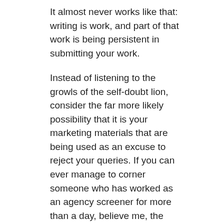It almost never works like that: writing is work, and part of that work is being persistent in submitting your work.
Instead of listening to the growls of the self-doubt lion, consider the far more likely possibility that it is your marketing materials that are being used as an excuse to reject your queries. If you can ever manage to corner someone who has worked as an agency screener for more than a day, believe me, the FIRST thing she will tell you about the process is that she was given a list of red flags to use as rejection criteria for